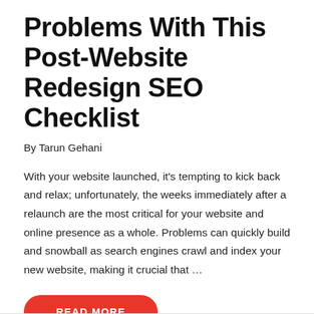Problems With This Post-Website Redesign SEO Checklist
By Tarun Gehani
With your website launched, it's tempting to kick back and relax; unfortunately, the weeks immediately after a relaunch are the most critical for your website and online presence as a whole. Problems can quickly build and snowball as search engines crawl and index your new website, making it crucial that …
READ MORE